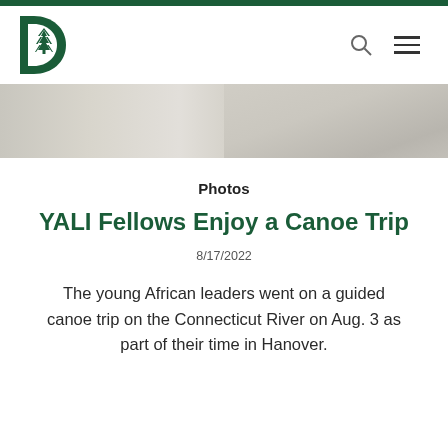Dartmouth College navigation header with logo, search icon, and hamburger menu
[Figure (photo): A partially visible banner photo, faded/light-toned, showing an abstract or outdoor scene.]
Photos
YALI Fellows Enjoy a Canoe Trip
8/17/2022
The young African leaders went on a guided canoe trip on the Connecticut River on Aug. 3 as part of their time in Hanover.